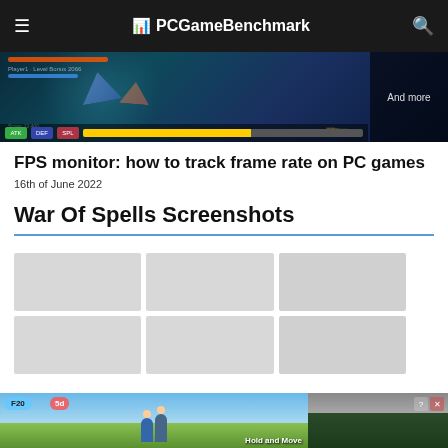PCGameBenchmark
[Figure (screenshot): Game screenshot from War Of Spells with HUD overlay and 'And more' overlay text on the right]
FPS monitor: how to track frame rate on PC games
16th of June 2022
War Of Spells Screenshots
[Figure (photo): Grid of 6 placeholder screenshot thumbnails (3 columns, 2 rows) for War Of Spells]
[Figure (screenshot): Video popup for 'Alone In The Dark Remake' from MW (Multi World?) with play button and close button]
[Figure (screenshot): Bottom advertisement banner for 'Hold and Move' game showing a forest scene and game characters]